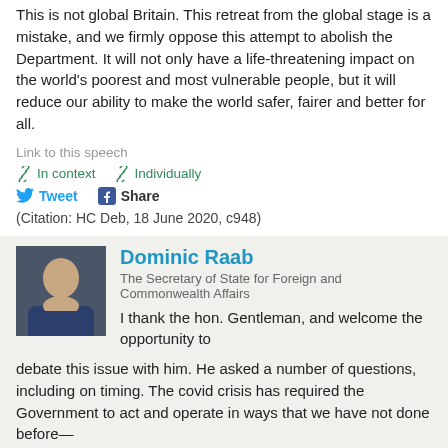This is not global Britain. This retreat from the global stage is a mistake, and we firmly oppose this attempt to abolish the Department. It will not only have a life-threatening impact on the world's poorest and most vulnerable people, but it will reduce our ability to make the world safer, fairer and better for all.
Link to this speech
In context   Individually
Tweet   Share
(Citation: HC Deb, 18 June 2020, c948)
Dominic Raab
The Secretary of State for Foreign and Commonwealth Affairs
I thank the hon. Gentleman, and welcome the opportunity to debate this issue with him. He asked a number of questions, including on timing. The covid crisis has required the Government to act and operate in ways that we have not done before—
Link to this speech
In context   Individually